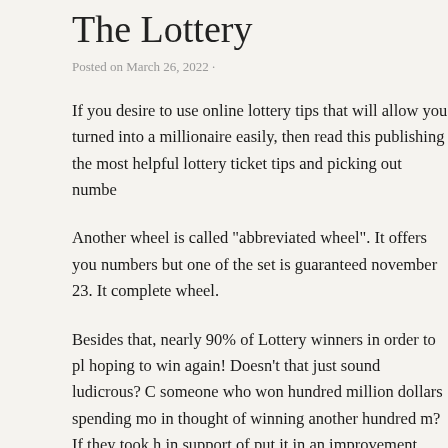The Lottery
Posted on March 26, 2022 ·
If you desire to use online lottery tips that will allow you turned into a millionaire easily, then read this publishing the most helpful lottery ticket tips and picking out numbe
Another wheel is called "abbreviated wheel". It offers you numbers but one of the set is guaranteed november 23. It complete wheel.
Besides that, nearly 90% of Lottery winners in order to pl hoping to win again! Doesn't that just sound ludicrous? C someone who won hundred million dollars spending mo in thought of winning another hundred m? If they took h in support of put it in an improvement stock mutual fund each year, these people easily make five million dollars i